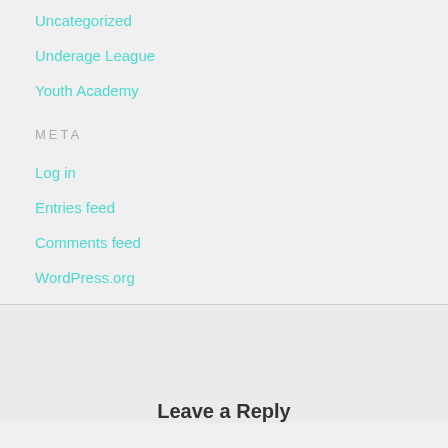Uncategorized
Underage League
Youth Academy
META
Log in
Entries feed
Comments feed
WordPress.org
Leave a Reply